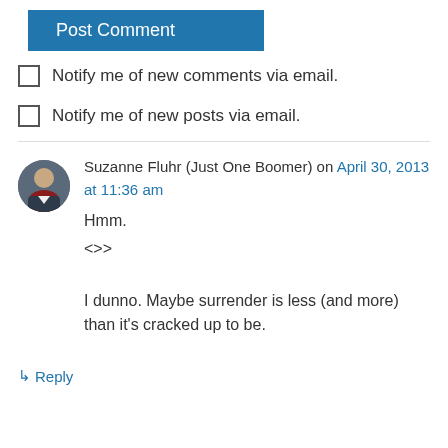Post Comment
Notify me of new comments via email.
Notify me of new posts via email.
Suzanne Fluhr (Just One Boomer) on April 30, 2013 at 11:36 am
Hmm.
<>>
I dunno. Maybe surrender is less (and more) than it's cracked up to be.
↳ Reply